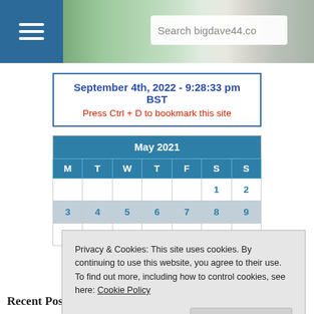[Figure (screenshot): Website header with hamburger menu button on left, landscape photo in background, and search box with 'Search bigdave44.co' placeholder text]
September 4th, 2022 - 9:28:33 pm BST
Press Ctrl + D to bookmark this site
| M | T | W | T | F | S | S |
| --- | --- | --- | --- | --- | --- | --- |
|  |  |  |  |  | 1 | 2 |
| 3 | 4 | 5 | 6 | 7 | 8 | 9 |
| 10 | 11 | 12 | 13 | 14 | 15 | 16 |
Privacy & Cookies: This site uses cookies. By continuing to use this website, you agree to their use.
To find out more, including how to control cookies, see here: Cookie Policy
Close and accept
Recent Posts
Sunday Toughie 32 (Hints)